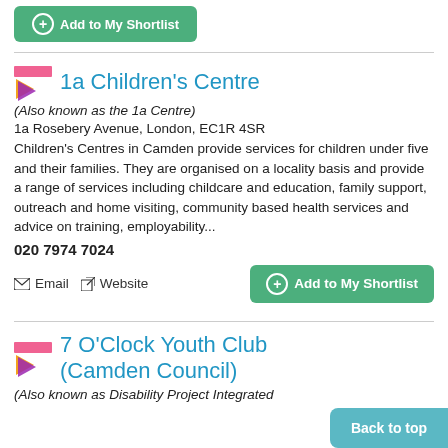Add to My Shortlist
1a Children's Centre
(Also known as the 1a Centre)
1a Rosebery Avenue, London, EC1R 4SR
Children's Centres in Camden provide services for children under five and their families. They are organised on a locality basis and provide a range of services including childcare and education, family support, outreach and home visiting, community based health services and advice on training, employability...
020 7974 7024
Email
Website
Add to My Shortlist
7 O'Clock Youth Club (Camden Council)
(Also known as Disability Project Integrated
Back to top